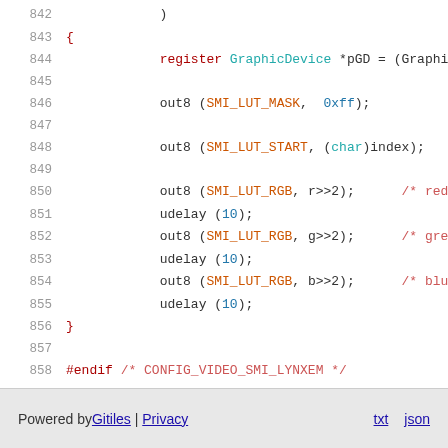Code listing lines 842-858: C source code snippet showing GraphicDevice register setup, LUT mask/start/RGB output with udelay calls, and #endif directive for CONFIG_VIDEO_SMI_LYNXEM
Powered by Gitiles | Privacy    txt  json